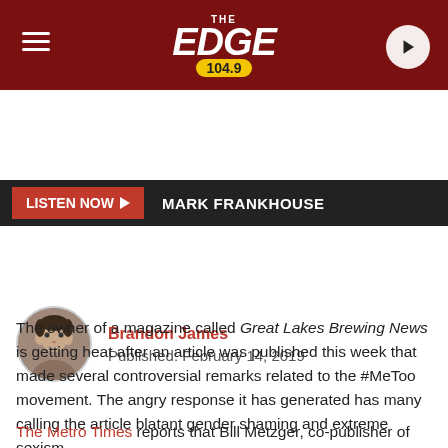[Figure (logo): The Edge 104.9 radio station logo on dark red header bar with hamburger menu icon on left and play button on right]
LISTEN NOW  MARK FRANKHOUSE
Brandon James
Published: February 14, 2019
[Figure (illustration): Facebook Share button and Twitter Tweet button side by side]
The owner of a magazine called Great Lakes Brewing News is getting heat after an article was published this week that made several controversial remarks related to the #MeToo movement. The angry response it has generated has many calling the article blatant gender shaming and extreme sexism.
The Metro Times reports that Bill Metzger, co-publisher of the bimonthly magazine, published a beer review that had a